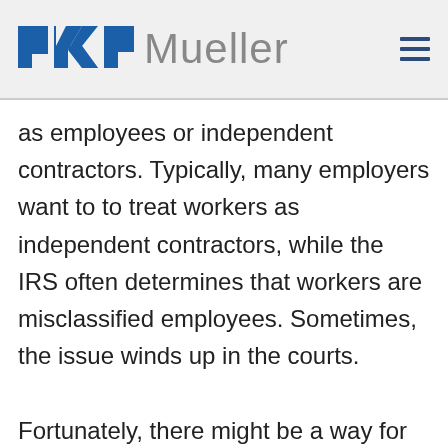PKF Mueller
as employees or independent contractors. Typically, many employers want to to treat workers as independent contractors, while the IRS often determines that workers are misclassified employees. Sometimes, the issue winds up in the courts.

Fortunately, there might be a way for employers to obtain a measure of protection if the IRS challenges the classification of a